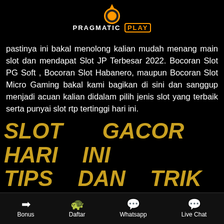[Figure (logo): Pragmatic Play logo with orange ball icon and crown, white and orange text on black background]
pastinya ini bakal menolong kalian mudah menang main slot dan mendapat Slot JP Terbesar 2022. Bocoran Slot PG Soft , Bocoran Slot Habanero, maupun Bocoran Slot Micro Gaming bakal kami bagikan di sini dan sanggup menjadi acuan kalian didalam pilih jenis slot yang terbaik serta punyai slot rtp tertinggi hari ini.
SLOT GACOR HARI INI TIPS DAN TRIK CARA SETTING KEMENANGAN BERMAIN SITUS JUDI ONLINE JACKPOT TERBESAR
Bonus | Daftar | Whatsapp | Live Chat